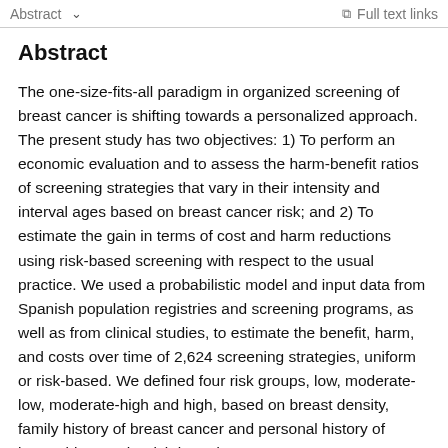Abstract   ∨     Full text links
Abstract
The one-size-fits-all paradigm in organized screening of breast cancer is shifting towards a personalized approach. The present study has two objectives: 1) To perform an economic evaluation and to assess the harm-benefit ratios of screening strategies that vary in their intensity and interval ages based on breast cancer risk; and 2) To estimate the gain in terms of cost and harm reductions using risk-based screening with respect to the usual practice. We used a probabilistic model and input data from Spanish population registries and screening programs, as well as from clinical studies, to estimate the benefit, harm, and costs over time of 2,624 screening strategies, uniform or risk-based. We defined four risk groups, low, moderate-low, moderate-high and high, based on breast density, family history of breast cancer and personal history of breast biopsy. The risk-based strategies were obtained by assigning them more inten...